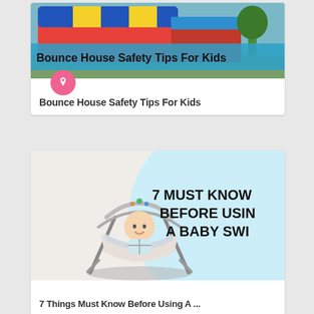[Figure (photo): Bounce house with colorful inflatable structure, blue/red/yellow colors, with a semi-transparent blue banner overlay reading 'Bounce House Safety Tips For Kids']
Bounce House Safety Tips For Kids
[Figure (photo): Baby sitting in a gray baby swing/bouncer seat, smiling. Right side has a light blue circular background with bold black text reading '7 MUST KNOW BEFORE USING A BABY SWI[NG]']
7 Things Must Know Before Using A ...